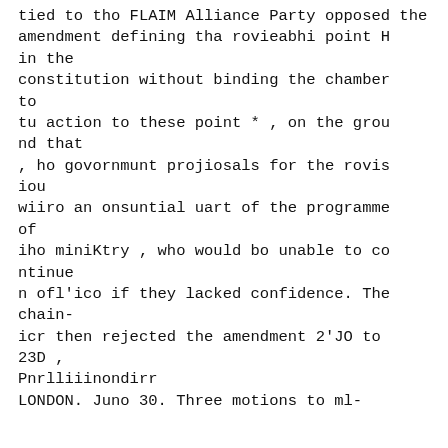tied to tho FLAIM Alliance Party opposed the amendment defining tha rovieabhi point H in the constitution without binding the chamber to tu action to these point * , on the ground that , ho govornmunt projiosals for the rovisiou wiiro an onsuntial uart of the programme of iho miniKtry , who would bo unable to continue n ofl'ico if they lacked confidence. The chain-icr then rejected the amendment 2'JO to 23D , Pnrlliiinondirr LONDON. Juno 30. Three motions to ml-